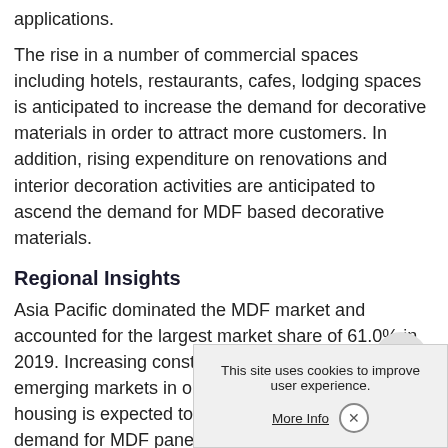applications.
The rise in a number of commercial spaces including hotels, restaurants, cafes, lodging spaces is anticipated to increase the demand for decorative materials in order to attract more customers. In addition, rising expenditure on renovations and interior decoration activities are anticipated to ascend the demand for MDF based decorative materials.
Regional Insights
Asia Pacific dominated the MDF market and accounted for the largest market share of 61.0% in 2019. Increasing construction spending in the emerging markets in order to meet rising residential housing is expected to be a major factor driving the demand for MDF panels in the construction industry over th... the largest consumer of MDF... product penetration in the co...